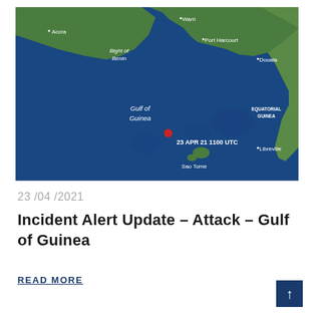[Figure (map): Satellite map of the Gulf of Guinea region showing coastal West/Central Africa including Accra, Bight of Benin, Warri, Port Harcourt, Douala, Equatorial Guinea, Libreville, Sao Tome, and a red incident marker labeled '23 APR 21 1100 UTC' in the Gulf of Guinea.]
23 /04 /2021
Incident Alert Update – Attack – Gulf of Guinea
READ MORE